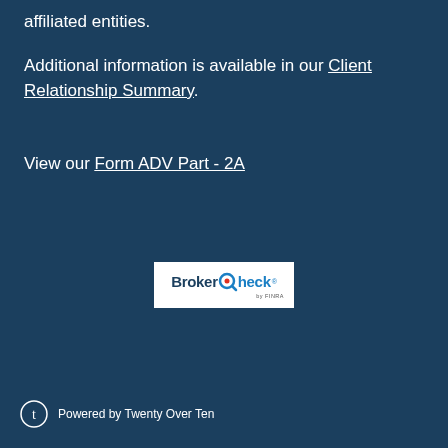affiliated entities.
Additional information is available in our Client Relationship Summary
View our Form ADV Part - 2A
[Figure (logo): BrokerCheck by FINRA logo — white background box with 'BrokerCheck' text in navy and blue with a magnifying glass icon, 'by FINRA' subtext below]
Powered by Twenty Over Ten